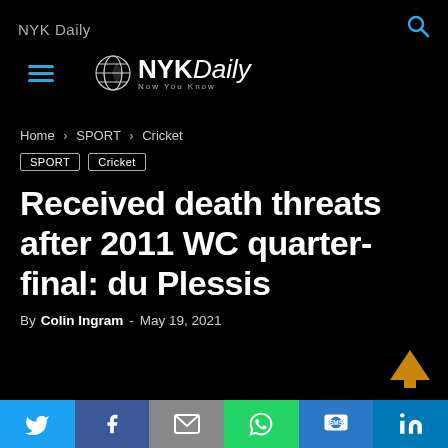NYK Daily
[Figure (logo): NYKDaily logo with globe icon and tagline 'Now You Know']
Home › SPORT › Cricket
SPORT   Cricket
Received death threats after 2011 WC quarter-final: du Plessis
By Colin Ingram - May 19, 2021